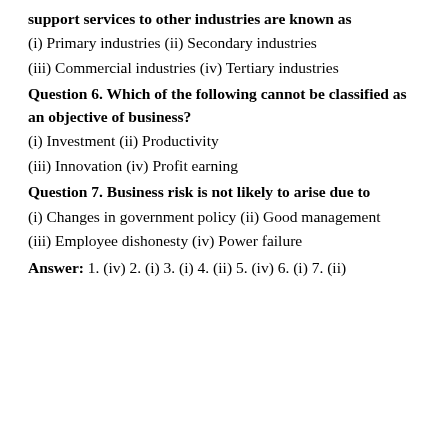support services to other industries are known as
(i) Primary industries (ii) Secondary industries
(iii) Commercial industries (iv) Tertiary industries
Question 6. Which of the following cannot be classified as an objective of business?
(i) Investment (ii) Productivity
(iii) Innovation (iv) Profit earning
Question 7. Business risk is not likely to arise due to
(i) Changes in government policy (ii) Good management
(iii) Employee dishonesty (iv) Power failure
Answer: 1. (iv) 2. (i) 3. (i) 4. (ii) 5. (iv) 6. (i) 7. (ii)